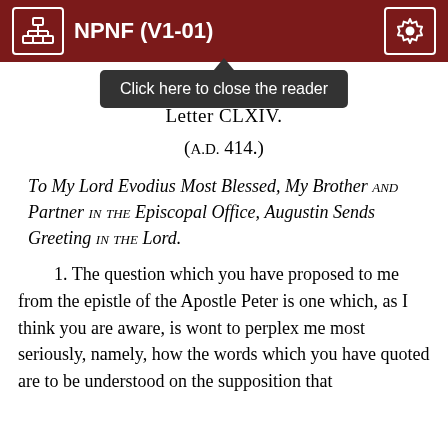NPNF (V1-01)
Letter CLXIV.
(A.D. 414.)
To My Lord Evodius Most Blessed, My Brother and Partner in the Episcopal Office, Augustin Sends Greeting in the Lord.
1. The question which you have proposed to me from the epistle of the Apostle Peter is one which, as I think you are aware, is wont to perplex me most seriously, namely, how the words which you have quoted are to be understood on the supposition that